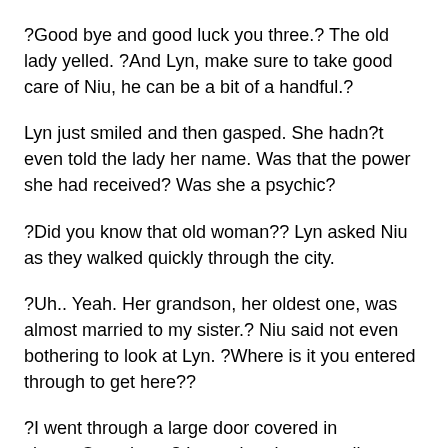?Good bye and good luck you three.? The old lady yelled. ?And Lyn, make sure to take good care of Niu, he can be a bit of a handful.?
Lyn just smiled and then gasped. She hadn?t even told the lady her name. Was that the power she had received? Was she a psychic?
?Did you know that old woman?? Lyn asked Niu as they walked quickly through the city.
?Uh.. Yeah. Her grandson, her oldest one, was almost married to my sister.? Niu said not even bothering to look at Lyn. ?Where is it you entered through to get here??
?I went through a large door covered in vines...Over there.? Lyn pointed to a small building. As they moved towards the back they could clearly see the large door in which Lyn had been talking about.
?Huh... I?ve never seen this before.? Jabari said with a puzzled